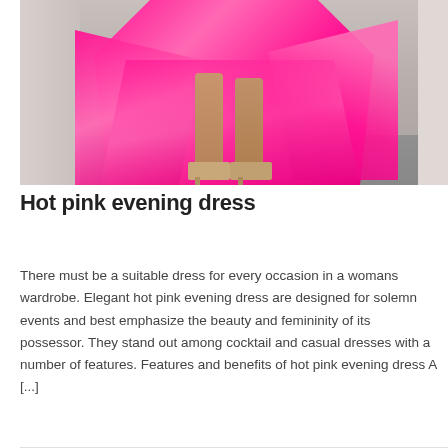[Figure (photo): Photo of a woman wearing a hot pink evening dress with flowing fabric, showing legs and gold sandal heels. The dress has layered chiffon panels in a bright fuchsia/hot pink color. Background is neutral gray.]
Hot pink evening dress
There must be a suitable dress for every occasion in a womans wardrobe. Elegant hot pink evening dress are designed for solemn events and best emphasize the beauty and femininity of its possessor. They stand out among cocktail and casual dresses with a number of features. Features and benefits of hot pink evening dress A [...]